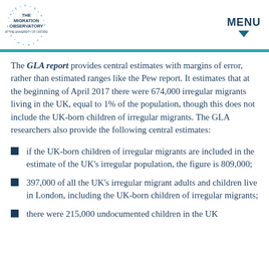THE MIGRATION OBSERVATORY AT THE UNIVERSITY OF OXFORD | MENU
The GLA report provides central estimates with margins of error, rather than estimated ranges like the Pew report. It estimates that at the beginning of April 2017 there were 674,000 irregular migrants living in the UK, equal to 1% of the population, though this does not include the UK-born children of irregular migrants. The GLA researchers also provide the following central estimates:
if the UK-born children of irregular migrants are included in the estimate of the UK's irregular population, the figure is 809,000;
397,000 of all the UK's irregular migrant adults and children live in London, including the UK-born children of irregular migrants;
there were 215,000 undocumented children in the UK